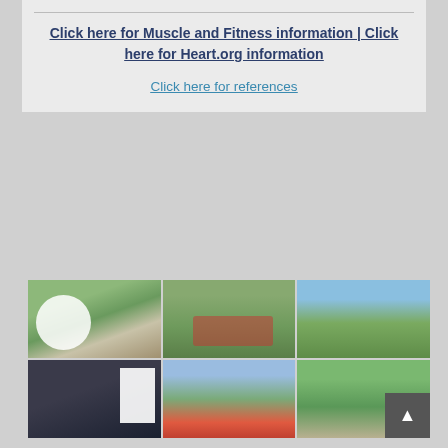Click here for Muscle and Fitness information | Click here for Heart.org information
Click here for references
[Figure (photo): Six outdoor fitness/exercise photos arranged in a 3x2 grid showing people exercising in a park setting]
[Figure (photo): Sign with checklist items: jump, walk, run, study, learn, study]
[Figure (photo): People exercising in park with equipment]
[Figure (photo): People doing group exercise outdoors]
[Figure (photo): People in outdoor fitness class with whiteboard]
[Figure (photo): Outdoor fitness session near water feature]